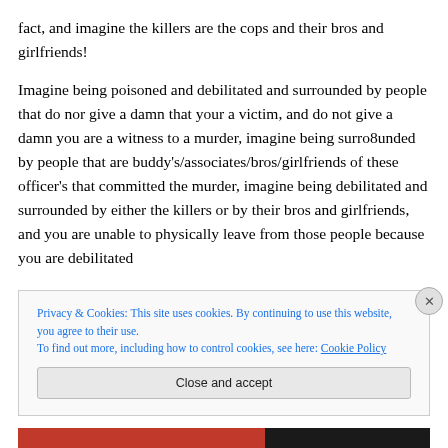fact, and imagine the killers are the cops and their bros and girlfriends!
Imagine being poisoned and debilitated and surrounded by people that do nor give a damn that your a victim, and do not give a damn you are a witness to a murder, imagine being surro8unded by people that are buddy's/associates/bros/girlfriends of these officer's that committed the murder, imagine being debilitated and surrounded by either the killers or by their bros and girlfriends, and you are unable to physically leave from those people because you are debilitated
Privacy & Cookies: This site uses cookies. By continuing to use this website, you agree to their use. To find out more, including how to control cookies, see here: Cookie Policy
Close and accept